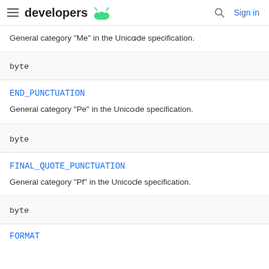developers [android logo] [search] Sign in
General category "Me" in the Unicode specification.
| byte |
END_PUNCTUATION
General category "Pe" in the Unicode specification.
| byte |
FINAL_QUOTE_PUNCTUATION
General category "Pf" in the Unicode specification.
| byte |
FORMAT